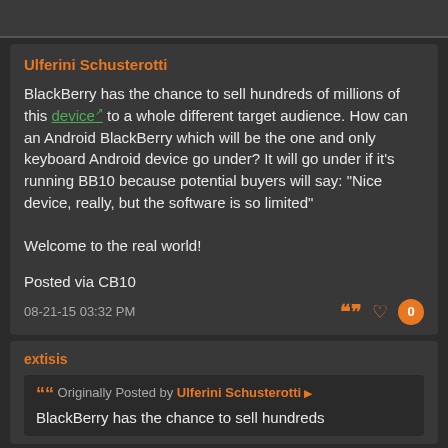Ulferini Schusterotti
BlackBerry has the chance to sell hundreds of millions of this device to a whole different target audience. How can an Android BlackBerry which will be the one and only keyboard Android device go under? It will go under if it's running BB10 because potential buyers will say: "Nice device, really, but the software is so limited"

Welcome to the real world!

Posted via CB10
08-21-15 03:32 PM
extisis
Originally Posted by Ulferini Schusterotti
BlackBerry has the chance to sell hundreds